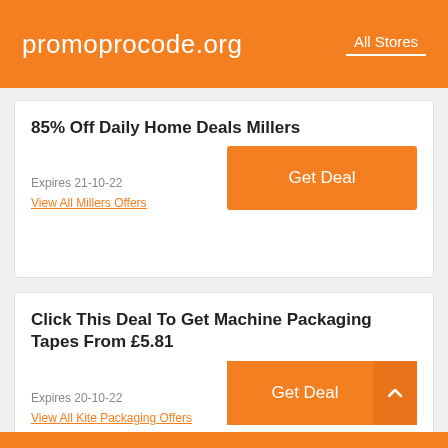promoprocode.org   All Stores
85% Off Daily Home Deals Millers
Expires 21-10-22
View All Millers Offers
Click This Deal To Get Machine Packaging Tapes From £5.81
Expires 20-10-22
View All Kite Packaging Offers